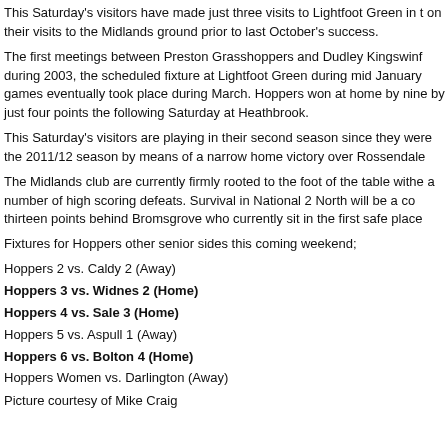This Saturday's visitors have made just three visits to Lightfoot Green in t on their visits to the Midlands ground prior to last October's success.
The first meetings between Preston Grasshoppers and Dudley Kingswinf during 2003, the scheduled fixture at Lightfoot Green during mid January games eventually took place during March. Hoppers won at home by nine by just four points the following Saturday at Heathbrook.
This Saturday's visitors are playing in their second season since they were the 2011/12 season by means of a narrow home victory over Rossendale
The Midlands club are currently firmly rooted to the foot of the table withe a number of high scoring defeats. Survival in National 2 North will be a co thirteen points behind Bromsgrove who currently sit in the first safe place
Fixtures for Hoppers other senior sides this coming weekend;
Hoppers 2 vs. Caldy 2 (Away)
Hoppers 3 vs. Widnes 2 (Home)
Hoppers 4 vs. Sale 3 (Home)
Hoppers 5 vs. Aspull 1 (Away)
Hoppers 6 vs. Bolton 4 (Home)
Hoppers Women vs. Darlington (Away)
Picture courtesy of Mike Craig